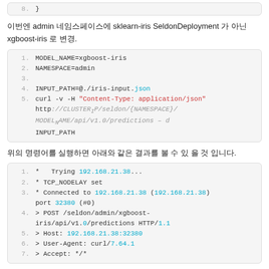[Figure (screenshot): Code snippet showing line 8 with closing brace]
이번엔 admin 네임스페이스에 sklearn-iris SeldonDeployment 가 아닌 xgboost-iris 로 변경.
[Figure (screenshot): Code block with MODEL_NAME=xgboost-iris, NAMESPACE=admin, INPUT_PATH and curl command]
위의 명령어를 실행하면 아래와 같은 결과를 볼 수 있 을 것 입니다.
[Figure (screenshot): Terminal output showing curl connection to 192.168.21.38, TCP_NODELAY, POST request to seldon/admin/xgboost-iris]